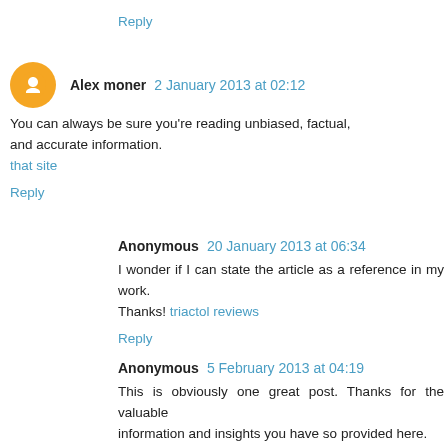Reply
Alex moner  2 January 2013 at 02:12
You can always be sure you're reading unbiased, factual, and accurate information.
that site
Reply
Anonymous  20 January 2013 at 06:34
I wonder if I can state the article as a reference in my work. Thanks! triactol reviews
Reply
Anonymous  5 February 2013 at 04:19
This is obviously one great post. Thanks for the valuable information and insights you have so provided here.